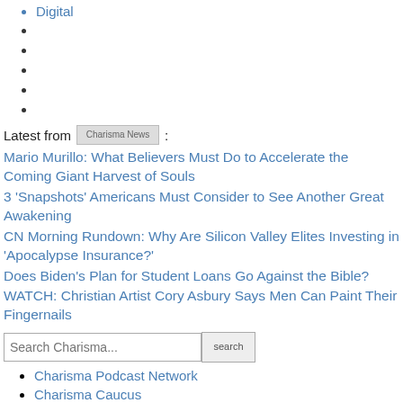Digital
Latest from Charisma News:
Mario Murillo: What Believers Must Do to Accelerate the Coming Giant Harvest of Souls
3 'Snapshots' Americans Must Consider to See Another Great Awakening
CN Morning Rundown: Why Are Silicon Valley Elites Investing in 'Apocalypse Insurance?'
Does Biden's Plan for Student Loans Go Against the Bible?
WATCH: Christian Artist Cory Asbury Says Men Can Paint Their Fingernails
Search Charisma...
Charisma Podcast Network
Charisma Caucus
MEV Bible
Charisma News